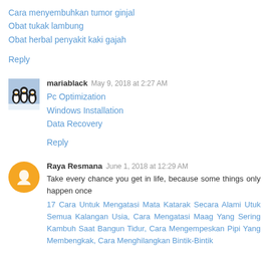Cara menyembuhkan tumor ginjal
Obat tukak lambung
Obat herbal penyakit kaki gajah
Reply
mariablack May 9, 2018 at 2:27 AM
Pc Optimization
Windows Installation
Data Recovery
Reply
Raya Resmana June 1, 2018 at 12:29 AM
Take every chance you get in life, because some things only happen once
17 Cara Untuk Mengatasi Mata Katarak Secara Alami Utuk Semua Kalangan Usia, Cara Mengatasi Maag Yang Sering Kambuh Saat Bangun Tidur, Cara Mengempeskan Pipi Yang Membengkak, Cara Menghilangkan Bintik-Bintik